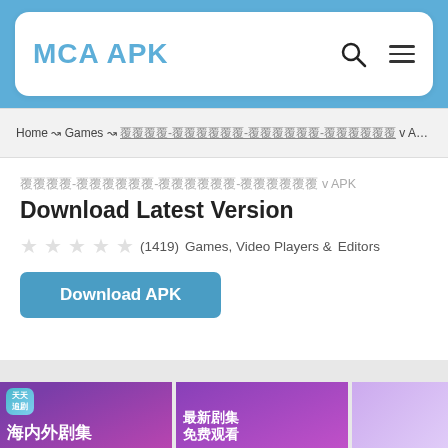MCA APK
Home → Games → 覆覆覆覆-覆覆覆覆覆覆-覆覆覆覆覆覆-覆覆覆覆覆覆 v APK Download Latest Version
覆覆覆覆-覆覆覆覆覆覆-覆覆覆覆覆覆-覆覆覆覆覆覆 v APK Download Latest Version
(1419)  Games, Video Players & Editors
Download APK
[Figure (screenshot): Three preview images of an app showing Chinese drama content with purple gradient backgrounds, Chinese text '天天追剧', '海内外剧集', '最新剧集免费观看']